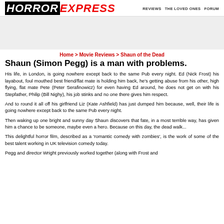HORROR EXPRESS | REVIEWS | THE LOVED ONES | FORUM
Home > Movie Reviews > Shaun of the Dead
Shaun (Simon Pegg) is a man with problems.
His life, in London, is going nowhere except back to the same Pub every night. Ed (Nick Frost) his layabout, foul mouthed best friend/flat mate is holding him back, he's getting abuse from his other, high flying, flat mate Pete (Peter Serafinowicz) for even having Ed around, he does not get on with his Stepfather, Philip (Bill Nighy), his job stinks and no one there gives him respect.
And to round it all off his girlfriend Liz (Kate Ashfield) has just dumped him because, well, their life is going nowhere except back to the same Pub every night.
Then waking up one bright and sunny day Shaun discovers that fate, in a most terrible way, has given him a chance to be someone, maybe even a hero. Because on this day, the dead walk...
This delightful horror film, described as a 'romantic comedy with zombies', is the work of some of the best talent working in UK television comedy today.
Pegg and director Wright previously worked together (along with Frost and...